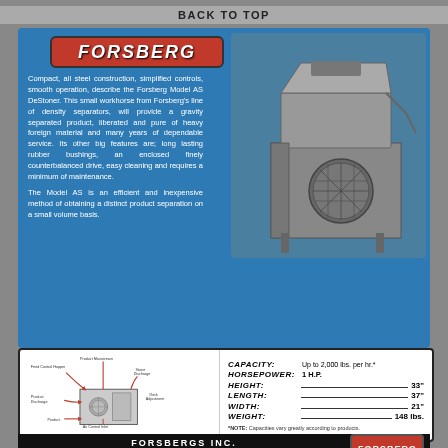BACK TO TOP
FORSBERG
Compact, all steel construction, simplified controls, smooth operation, describe the Forsberg Model AS DeStoner. This small workhorse from Forsberg's line of density separators, will provide a gravity separated product, liberated and pure of heavy foreign material and many years of dependable service. Its other big features are; long lasting rubber bushings, an enclosed finely counterbalanced drive, easy cleaning and requires a minimum of maintenance.

The Model AS is an efficient and inexpensive method of obtaining a distinct product separation on a small volume basis.
[Figure (photo): Black and white photograph of the Forsberg Model AS DeStoner machine — a compact steel industrial gravity separator with hopper on top and circular ventilation grill on the front.]
[Figure (schematic): Diagram of the Forsberg DeStoner showing: Product Mainstream, Feed Control Hopper, Stone Discharge, Product Discharge, Deck Adjustment, Product, Air Control Inlet labels with flow arrows.]
| Specification | Value |
| --- | --- |
| CAPACITY: | Up to 2,000 lbs. per hr.* |
| HORSEPOWER: | 1 H.P. |
| HEIGHT: | 33" |
| LENGTH: | 37" |
| WIDTH: | 21" |
| WEIGHT: | 148 lbs. |
*NOTE: Capacities vary greatly according to products.
FORSBERGS INC.  P.O. Box 510 — Thief River Falls — Minnesota 56701  Telephone: (218) 681-1927 — Cable: Forsep — TWX: 910-561-2634